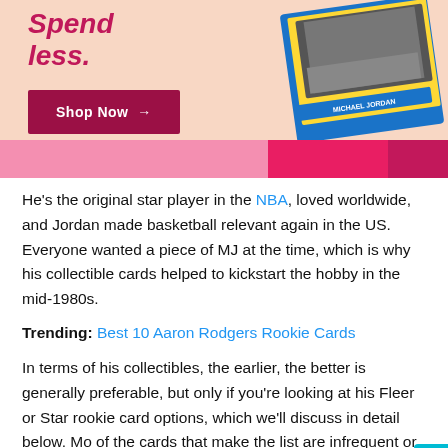[Figure (infographic): Advertisement banner with pink/peach background showing text 'Spend less.' in crimson italic, a 'Shop Now →' button in dark crimson, and an image of a Michael Jordan basketball card on the right side, with pink color blocks at the bottom.]
He's the original star player in the NBA, loved worldwide, and Jordan made basketball relevant again in the US. Everyone wanted a piece of MJ at the time, which is why his collectible cards helped to kickstart the hobby in the mid-1980s.
Trending: Best 10 Aaron Rodgers Rookie Cards
In terms of his collectibles, the earlier, the better is generally preferable, but only if you're looking at his Fleer or Star rookie card options, which we'll discuss in detail below. Mo of the cards that make the list are infrequent or were